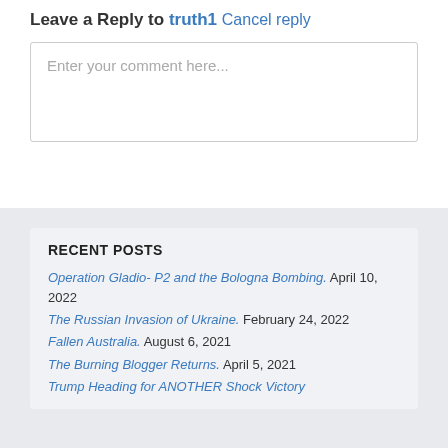Leave a Reply to truth1 Cancel reply
Enter your comment here...
RECENT POSTS
Operation Gladio- P2 and the Bologna Bombing. April 10, 2022
The Russian Invasion of Ukraine. February 24, 2022
Fallen Australia. August 6, 2021
The Burning Blogger Returns. April 5, 2021
Trump Heading for ANOTHER Shock Victory